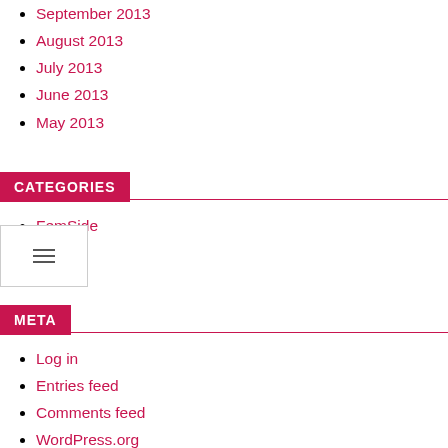September 2013
August 2013
July 2013
June 2013
May 2013
CATEGORIES
FemSide
META
Log in
Entries feed
Comments feed
WordPress.org